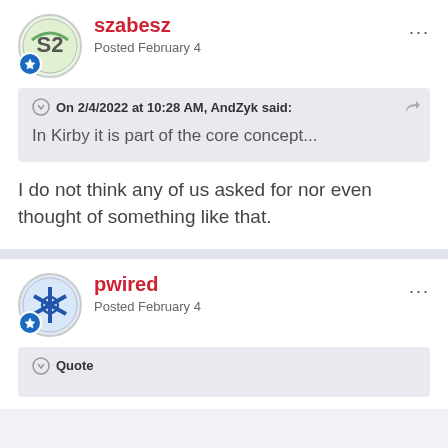szabesz
Posted February 4
On 2/4/2022 at 10:28 AM, AndZyk said:
In Kirby it is part of the core concept...
I do not think any of us asked for nor even thought of something like that.
pwired
Posted February 4
Quote